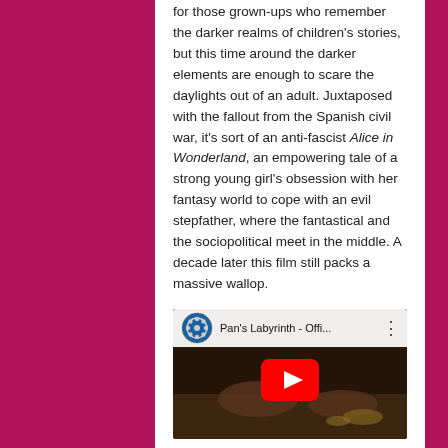for those grown-ups who remember the darker realms of children's stories, but this time around the darker elements are enough to scare the daylights out of an adult. Juxtaposed with the fallout from the Spanish civil war, it's sort of an anti-fascist Alice in Wonderland, an empowering tale of a strong young girl's obsession with her fantasy world to cope with an evil stepfather, where the fantastical and the sociopolitical meet in the middle. A decade later this film still packs a massive wallop.
[Figure (screenshot): YouTube video thumbnail for Pan's Labyrinth - Official trailer, showing a film reel channel icon, video title text, a dark scene with hands on a table, and a red YouTube play button overlay.]